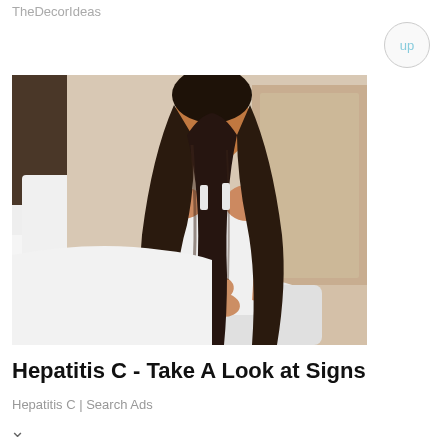TheDecorIdeas
[Figure (photo): Young woman with long dark hair sitting on a bed in a white tank top, turned away from camera with hands on her lower back, suggesting back pain or discomfort. Bedroom setting with white bedding visible.]
Hepatitis C - Take A Look at Signs
Hepatitis C | Search Ads